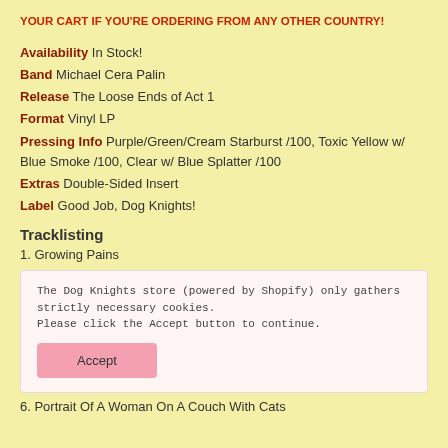YOUR CART IF YOU'RE ORDERING FROM ANY OTHER COUNTRY!
Availability In Stock!
Band Michael Cera Palin
Release The Loose Ends of Act 1
Format Vinyl LP
Pressing Info Purple/Green/Cream Starburst /100, Toxic Yellow w/ Blue Smoke /100, Clear w/ Blue Splatter /100
Extras Double-Sided Insert
Label Good Job, Dog Knights!
Tracklisting
1. Growing Pains
The Dog Knights store (powered by Shopify) only gathers strictly necessary cookies. Please click the Accept button to continue.
Accept
6. Portrait Of A Woman On A Couch With Cats